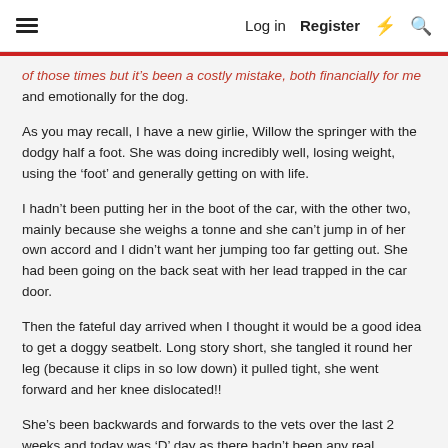≡  Log in  Register  ⚡  🔍
of those times but it's been a costly mistake, both financially for me and emotionally for the dog.
As you may recall, I have a new girlie, Willow the springer with the dodgy half a foot. She was doing incredibly well, losing weight, using the ‘foot’ and generally getting on with life.
I hadn’t been putting her in the boot of the car, with the other two, mainly because she weighs a tonne and she can’t jump in of her own accord and I didn’t want her jumping too far getting out. She had been going on the back seat with her lead trapped in the car door.
Then the fateful day arrived when I thought it would be a good idea to get a doggy seatbelt. Long story short, she tangled it round her leg (because it clips in so low down) it pulled tight, she went forward and her knee dislocated!!
She’s been backwards and forwards to the vets over the last 2 weeks and today was ‘D’ day as there hadn’t been any real improvement. X-rays today were better than feared and revealed the left knee will need surgically correcting, which is what we were